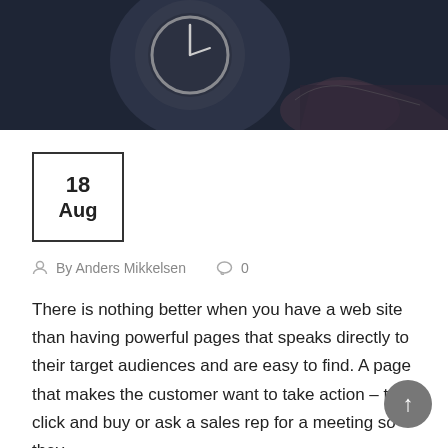[Figure (photo): Dark background photo showing a watch face and a hand/fingers, dark moody tones]
18
Aug
By Anders Mikkelsen   0
There is nothing better when you have a web site than having powerful pages that speaks directly to their target audiences and are easy to find. A page that makes the customer want to take action – to click and buy or ask a sales rep for a meeting so they